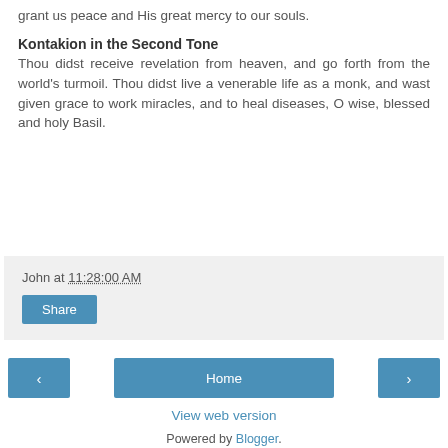grant us peace and His great mercy to our souls.
Kontakion in the Second Tone
Thou didst receive revelation from heaven, and go forth from the world's turmoil. Thou didst live a venerable life as a monk, and wast given grace to work miracles, and to heal diseases, O wise, blessed and holy Basil.
John at 11:28:00 AM
Share
Home
View web version
Powered by Blogger.